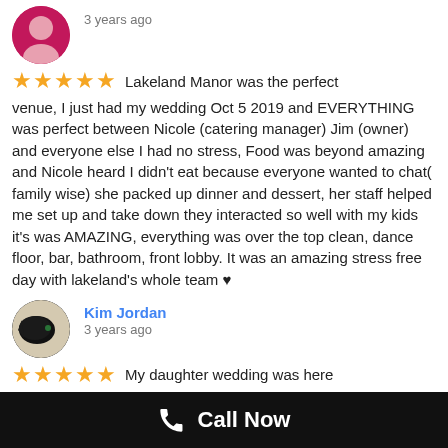[Figure (illustration): Pink/red circular avatar with person silhouette icon (no name shown)]
3 years ago
★★★★★  Lakeland Manor was the perfect venue, I just had my wedding Oct 5 2019 and EVERYTHING was perfect between Nicole (catering manager) Jim (owner) and everyone else I had no stress, Food was beyond amazing and Nicole heard I didn't eat because everyone wanted to chat( family wise) she packed up dinner and dessert, her staff helped me set up and take down they interacted so well with my kids it's was AMAZING, everything was over the top clean, dance floor, bar, bathroom, front lobby. It was an amazing stress free day with lakeland's whole team ♥
[Figure (photo): Circular avatar photo of Kim Jordan, showing a black cat]
Kim Jordan
3 years ago
★★★★★  My daughter wedding was here and the food was delicious, especially the chicken piccata. The staff was so friendly and polite...
Call Now